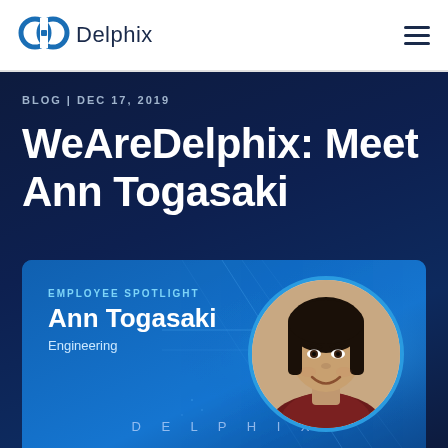Delphix
BLOG | DEC 17, 2019
WeAreDelphix: Meet Ann Togasaki
[Figure (infographic): Employee Spotlight card with photo of Ann Togasaki (Engineering), circular portrait on blue tech background, Delphix logo at bottom]